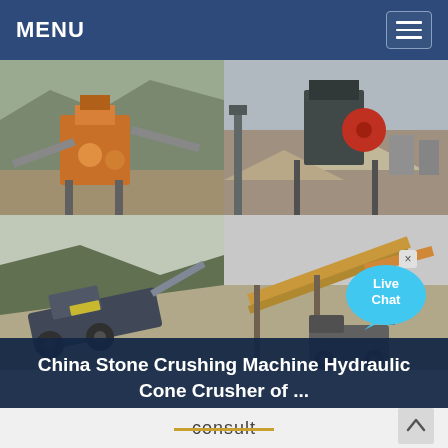MENU
[Figure (photo): Four-panel image grid showing stone crushing machinery and equipment at various mining/quarry sites. Top-left: orange impact crusher with conveyor belts on mountainside. Top-right: jaw crusher equipment in open yard with gravel piles. Bottom-left: mobile crushing and screening plant on hillside. Bottom-right: mobile crusher/conveyor unit with truck on gravel site. Live Chat bubble overlay in top-right of bottom row.]
China Stone Crushing Machine Hydraulic Cone Crusher of ...
consult